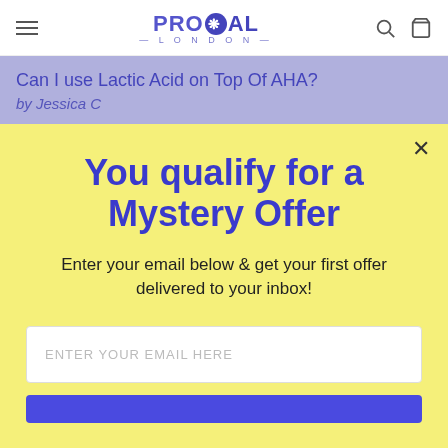PROCOAL LONDON
Can I use Lactic Acid on Top Of AHA?
by Jessica C
You qualify for a Mystery Offer
Enter your email below & get your first offer delivered to your inbox!
ENTER YOUR EMAIL HERE